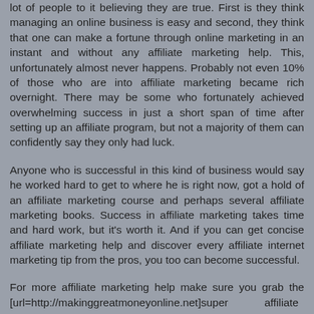lot of people to it believing they are true. First is they think managing an online business is easy and second, they think that one can make a fortune through online marketing in an instant and without any affiliate marketing help. This, unfortunately almost never happens. Probably not even 10% of those who are into affiliate marketing became rich overnight. There may be some who fortunately achieved overwhelming success in just a short span of time after setting up an affiliate program, but not a majority of them can confidently say they only had luck.
Anyone who is successful in this kind of business would say he worked hard to get to where he is right now, got a hold of an affiliate marketing course and perhaps several affiliate marketing books. Success in affiliate marketing takes time and hard work, but it's worth it. And if you can get concise affiliate marketing help and discover every affiliate internet marketing tip from the pros, you too can become successful.
For more affiliate marketing help make sure you grab the [url=http://makinggreatmoneyonline.net]super affiliate